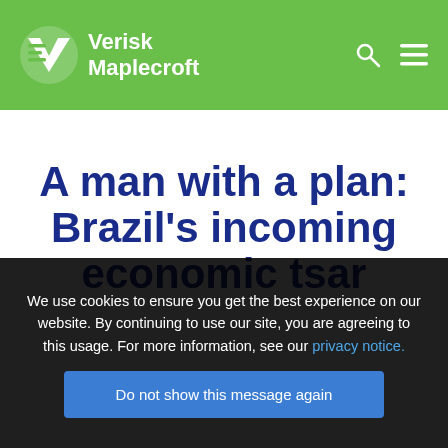Verisk Maplecroft
A man with a plan: Brazil's incoming economic tsar
We use cookies to ensure you get the best experience on our website. By continuing to use our site, you are agreeing to this usage. For more information, see our privacy notice.
Do not show this message again